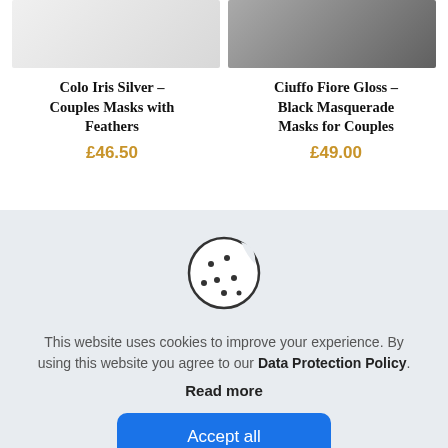[Figure (photo): Partial product image of Colo Iris Silver Couples Masks with Feathers - light/white feathered mask on white background]
[Figure (photo): Partial product image of Ciuffo Fiore Gloss Black Masquerade Masks for Couples - black glittery mask on white/grey background]
Colo Iris Silver – Couples Masks with Feathers
£46.50
Ciuffo Fiore Gloss – Black Masquerade Masks for Couples
£49.00
[Figure (illustration): Cookie icon - circle with a bite taken out, dots representing chocolate chips]
This website uses cookies to improve your experience. By using this website you agree to our Data Protection Policy.
Read more
Accept all